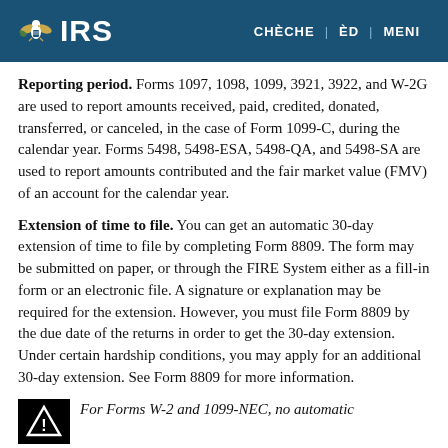IRS | CHÈCHE | ÈD | MENI
Reporting period. Forms 1097, 1098, 1099, 3921, 3922, and W-2G are used to report amounts received, paid, credited, donated, transferred, or canceled, in the case of Form 1099-C, during the calendar year. Forms 5498, 5498-ESA, 5498-QA, and 5498-SA are used to report amounts contributed and the fair market value (FMV) of an account for the calendar year.
Extension of time to file. You can get an automatic 30-day extension of time to file by completing Form 8809. The form may be submitted on paper, or through the FIRE System either as a fill-in form or an electronic file. A signature or explanation may be required for the extension. However, you must file Form 8809 by the due date of the returns in order to get the 30-day extension. Under certain hardship conditions, you may apply for an additional 30-day extension. See Form 8809 for more information.
For Forms W-2 and 1099-NEC, no automatic